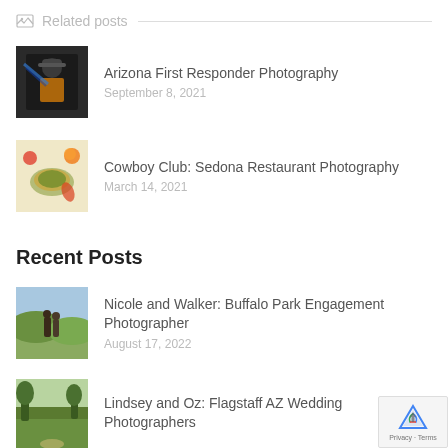Related posts
[Figure (photo): Thumbnail photo of a firefighter in full gear]
Arizona First Responder Photography
September 8, 2021
[Figure (photo): Thumbnail photo of food dishes]
Cowboy Club: Sedona Restaurant Photography
March 14, 2021
Recent Posts
[Figure (photo): Thumbnail photo of couple in a field]
Nicole and Walker: Buffalo Park Engagement Photographer
August 17, 2022
[Figure (photo): Thumbnail photo of outdoor wedding venue]
Lindsey and Oz: Flagstaff AZ Wedding Photographers